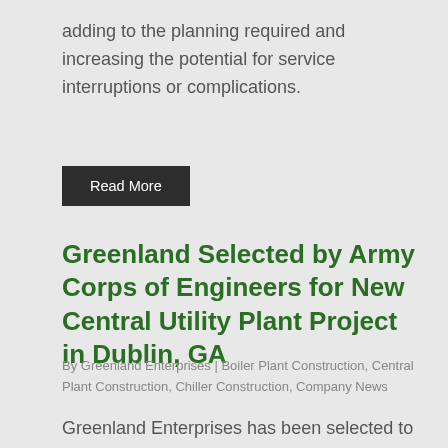adding to the planning required and increasing the potential for service interruptions or complications.
Read More
Greenland Selected by Army Corps of Engineers for New Central Utility Plant Project in Dublin, GA
By Greenland Enterprises | Boiler Plant Construction, Central Plant Construction, Chiller Construction, Company News
Greenland Enterprises has been selected to